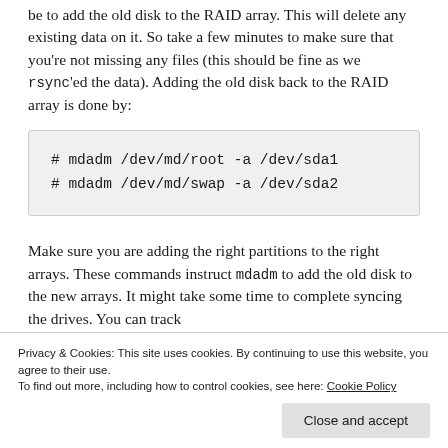be to add the old disk to the RAID array. This will delete any existing data on it. So take a few minutes to make sure that you're not missing any files (this should be fine as we rsync'ed the data). Adding the old disk back to the RAID array is done by:
# mdadm /dev/md/root -a /dev/sda1
# mdadm /dev/md/swap -a /dev/sda2
Make sure you are adding the right partitions to the right arrays. These commands instruct mdadm to add the old disk to the new arrays. It might take some time to complete syncing the drives. You can track
Privacy & Cookies: This site uses cookies. By continuing to use this website, you agree to their use.
To find out more, including how to control cookies, see here: Cookie Policy
When it's done, it means that your RAID arrays are